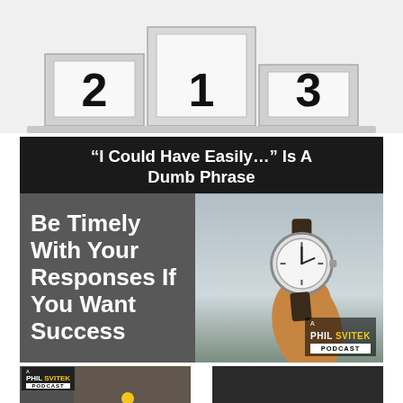[Figure (photo): Podium with numbers 2, 1, 3 on white background]
“I Could Have Easily…” Is A Dumb Phrase
[Figure (photo): Podcast thumbnail: 'Be Timely With Your Responses If You Want Success' with hand holding stopwatch. Phil Svitek Podcast branding.]
[Figure (photo): Bottom left podcast thumbnail with Phil Svitek Podcast branding and yellow dot]
[Figure (photo): Bottom right thumbnail with partial text 'How To']